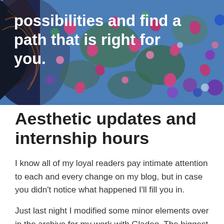[Figure (illustration): Colorful abstract illustration with confetti-like dots in pink, purple, green, blue and organic swirling dark patterns on the left side, with bold white text overlay reading 'possibilities and find a path that is right for you.']
Aesthetic updates and internship hours
I know all of my loyal readers pay intimate attention to each and every change on my blog, but in case you didn't notice what happened I'll fill you in.
Just last night I modified some minor elements over in the archive for my work with Gladeo. The biggest and most noticeable change was the shift from an internal photo showing the reporting team from when I first